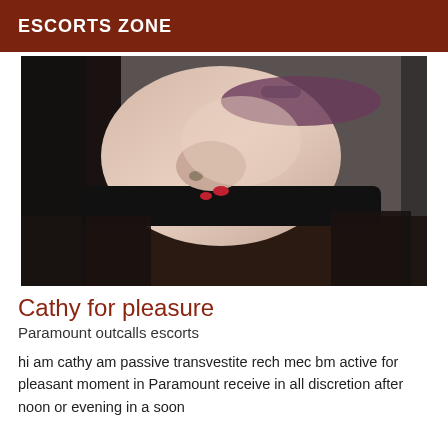ESCORTS ZONE
[Figure (photo): Close-up photograph of a person posing on a grey sofa, wearing black lingerie and stockings with a bracelet and ring visible.]
Cathy for pleasure
Paramount outcalls escorts
hi am cathy am passive transvestite rech mec bm active for pleasant moment in Paramount receive in all discretion after noon or evening in a soon